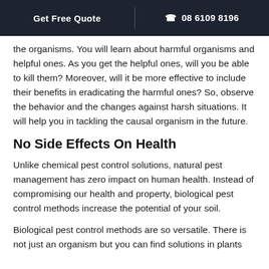Get Free Quote | ☎ 08 6109 8196
the organisms. You will learn about harmful organisms and helpful ones. As you get the helpful ones, will you be able to kill them? Moreover, will it be more effective to include their benefits in eradicating the harmful ones? So, observe the behavior and the changes against harsh situations. It will help you in tackling the causal organism in the future.
No Side Effects On Health
Unlike chemical pest control solutions, natural pest management has zero impact on human health. Instead of compromising our health and property, biological pest control methods increase the potential of your soil.
Biological pest control methods are so versatile. There is not just an organism but you can find solutions in plants